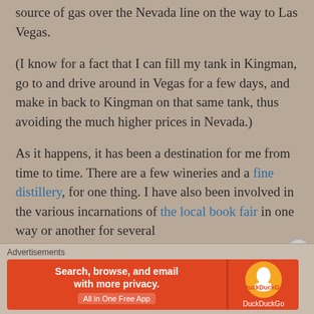source of gas over the Nevada line on the way to Las Vegas.
(I know for a fact that I can fill my tank in Kingman, go to and drive around in Vegas for a few days, and make in back to Kingman on that same tank, thus avoiding the much higher prices in Nevada.)
As it happens, it has been a destination for me from time to time. There are a few wineries and a fine distillery, for one thing. I have also been involved in the various incarnations of the local book fair in one way or another for several
[Figure (screenshot): Advertisement banner for DuckDuckGo: orange/red background with text 'Search, browse, and email with more privacy. All in One Free App' on the left, and DuckDuckGo logo on the right.]